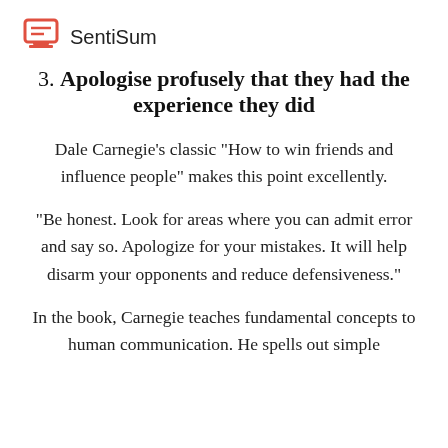SentiSum
3. Apologise profusely that they had the experience they did
Dale Carnegie’s classic “How to win friends and influence people” makes this point excellently.
“Be honest. Look for areas where you can admit error and say so. Apologize for your mistakes. It will help disarm your opponents and reduce defensiveness.”
In the book, Carnegie teaches fundamental concepts to human communication. He spells out simple